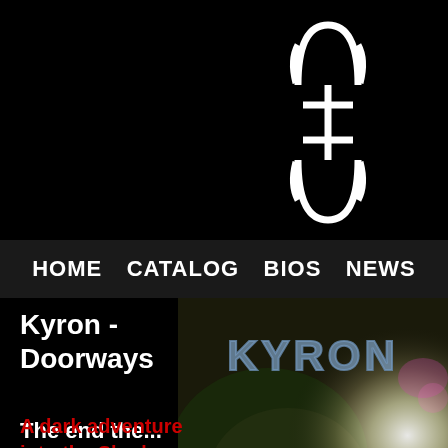[Figure (logo): White Kyron symbol/logo on black background - an ornate symbol resembling a stylized letter or rune in white]
HOME   CATALOG   BIOS   NEWS
Kyron - Doorways
[Figure (photo): Dark cave or tunnel photo with green mossy rock and bright light, overlaid with KYRON text in stone/grunge style]
A dark adventure into the Shadow Lands
The end the...